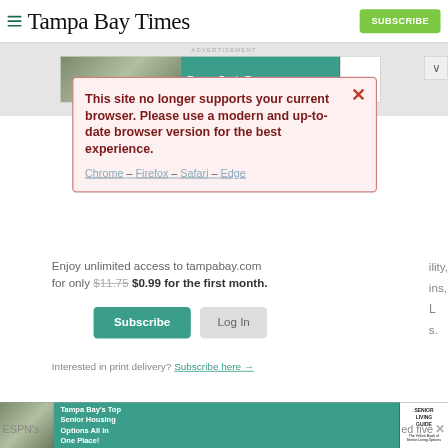Tampa Bay Times
[Figure (screenshot): Advertisement banner showing Tampa Bay Top Senior Housing Options with photo of elderly cyclists]
[Figure (screenshot): Browser compatibility warning modal: 'This site no longer supports your current browser. Please use a modern and up-to-date browser version for the best experience. Chrome – Firefox – Safari – Edge']
Enjoy unlimited access to tampabay.com for only $11.75 $0.99 for the first month.
Subscribe
Log In
Interested in print delivery? Subscribe here →
[Figure (screenshot): Bottom advertisement: Tampa Bay's Top Senior Housing Options All in One Place! Senior Living Guide]
ESPN's
ed five